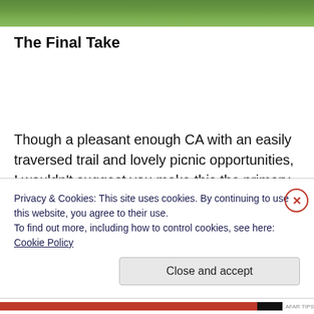[Figure (photo): Strip of green grass at the top of the page]
The Final Take
Though a pleasant enough CA with an easily traversed trail and lovely picnic opportunities, I wouldn't suggest you make this the primary destination of a road trip. If you're a nearby resident, or will be in the area anyway, then by all
Privacy & Cookies: This site uses cookies. By continuing to use this website, you agree to their use.
To find out more, including how to control cookies, see here: Cookie Policy
Close and accept